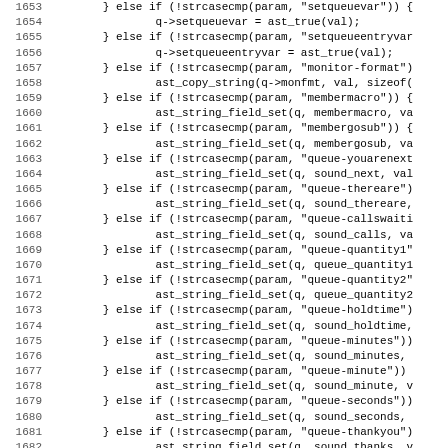[Figure (screenshot): Source code listing showing C code lines 1653-1685, with line numbers on the left and code content on the right in monospace font. The code contains a series of else-if statements checking strcasecmp(param, ...) conditions and calling ast_string_field_set or similar functions.]